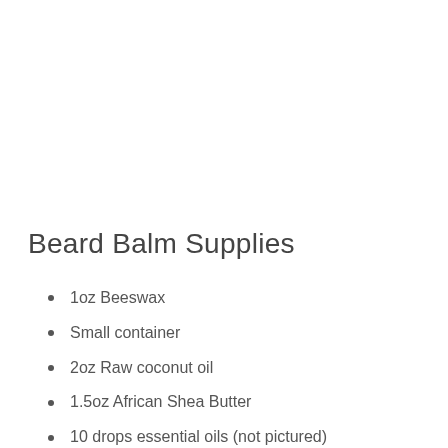Beard Balm Supplies
1oz Beeswax
Small container
2oz Raw coconut oil
1.5oz African Shea Butter
10 drops essential oils (not pictured)
Candle Making Pot (not pictured)